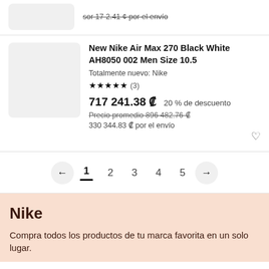sor 17 2.41 ¢ por el envío
[Figure (other): Product image placeholder (gray rectangle) for partial top listing]
[Figure (other): Product image placeholder (gray rectangle) for Nike Air Max 270 listing]
New Nike Air Max 270 Black White AH8050 002 Men Size 10.5
Totalmente nuevo: Nike
★★★★★ (3)
717 241.38 ₡  20 % de descuento
Precio promedio 896 482.76 ₡
330 344.83 ₡ por el envío
← 1 2 3 4 5 →
Nike
Compra todos los productos de tu marca favorita en un solo lugar.